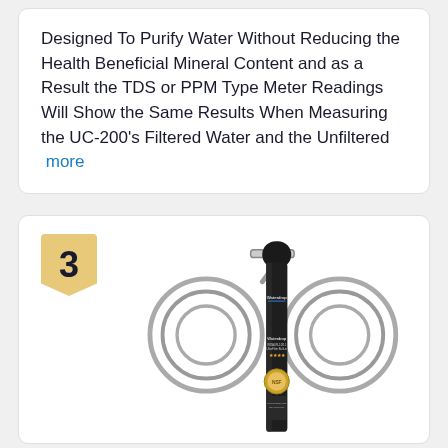Designed To Purify Water Without Reducing the Health Beneficial Mineral Content and as a Result the TDS or PPM Type Meter Readings Will Show the Same Results When Measuring the UC-200's Filtered Water and the Unfiltered  more
[Figure (photo): Waterdrop under-counter water filter (model UC-200), a tall black cylindrical unit with two stainless steel braided hoses coiled on either side, and 'Waterdrop' branding visible on the unit. A number 3 ranking badge appears in the top-left corner of the card.]